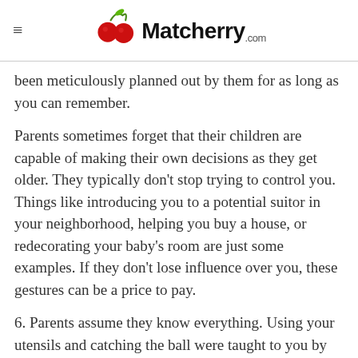Matcherry .com
been meticulously planned out by them for as long as you can remember.
Parents sometimes forget that their children are capable of making their own decisions as they get older. They typically don’t stop trying to control you. Things like introducing you to a potential suitor in your neighborhood, helping you buy a house, or redecorating your baby’s room are just some examples. If they don’t lose influence over you, these gestures can be a price to pay.
6. Parents assume they know everything. Using your utensils and catching the ball were taught to you by your teachers. You and your partners may have a